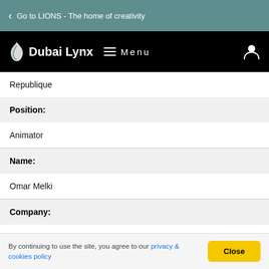Go to LIONS - The home of creativity
[Figure (logo): Dubai Lynx logo with Menu navigation and user account icon on black bar]
Republique
Position:
Animator
Name:
Omar Melki
Company:
Republique
By continuing to use the site, you agree to our privacy & cookies policy